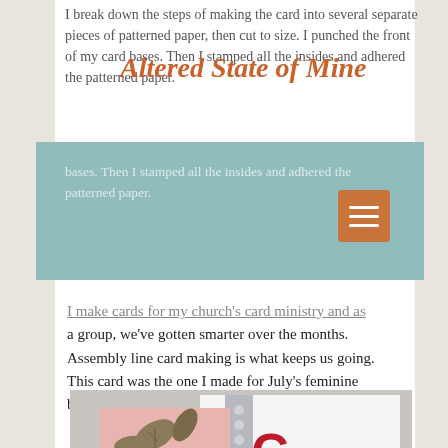I break down the steps of making the card into several separate pieces of patterned paper, then cut to size. I punched the front of my card bases. Then I stamped all the insides and adhered the patterned paper.
Altered State of Mine
I make cards for my church's card ministry and as a group, we've gotten smarter over the months. Assembly line card making is what keeps us going. This card was the one I made for July's feminine birthdays.
[Figure (photo): A handmade birthday card with pink paper featuring a stamped floral design and the letters 'CEL' visible on the right side, showing assembly of the card.]